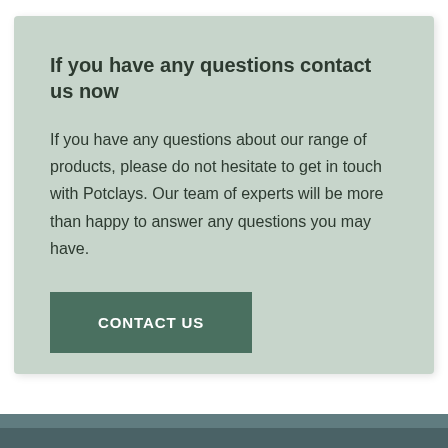If you have any questions contact us now
If you have any questions about our range of products, please do not hesitate to get in touch with Potclays. Our team of experts will be more than happy to answer any questions you may have.
CONTACT US